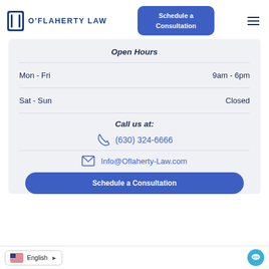[Figure (logo): O'Flaherty Law logo with blue bracket icon and uppercase text]
Schedule a Consultation
Open Hours
Mon - Fri	9am - 6pm
Sat - Sun	Closed
Call us at:
(630) 324-6666
Info@Oflaherty-Law.com
Schedule a Consultation
English